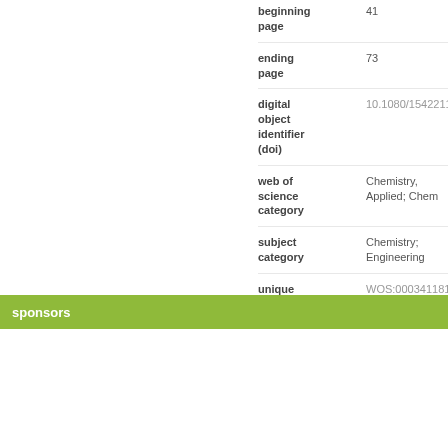| field | value |
| --- | --- |
| beginning page | 41 |
| ending page | 73 |
| digital object identifier (doi) | 10.1080/15422119.2013. |
| web of science category | Chemistry, Applied; Chem |
| subject category | Chemistry; Engineering |
| unique article identifier | WOS:000341181500004 |
sponsors